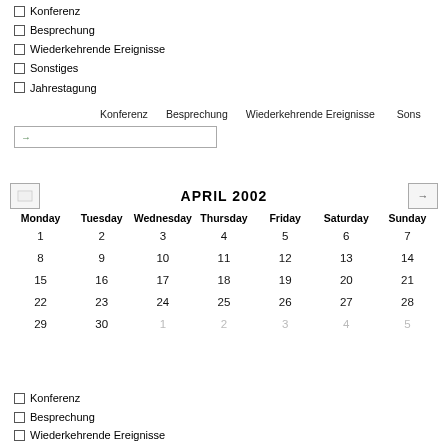Konferenz
Besprechung
Wiederkehrende Ereignisse
Sonstiges
Jahrestagung
Konferenz   Besprechung   Wiederkehrende Ereignisse   Sons...
[Figure (screenshot): Text input box with right arrow icon]
[Figure (screenshot): April 2002 calendar with navigation buttons and date grid showing Monday through Sunday columns]
Konferenz
Besprechung
Wiederkehrende Ereignisse